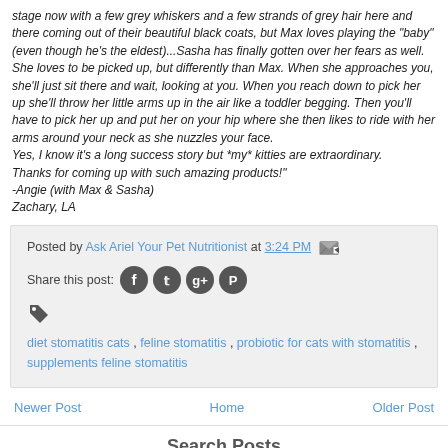stage now with a few grey whiskers and a few strands of grey hair here and there coming out of their beautiful black coats, but Max loves playing the "baby" (even though he's the eldest)...Sasha has finally gotten over her fears as well. She loves to be picked up, but differently than Max. When she approaches you, she'll just sit there and wait, looking at you. When you reach down to pick her up she'll throw her little arms up in the air like a toddler begging. Then you'll have to pick her up and put her on your hip where she then likes to ride with her arms around your neck as she nuzzles your face.
Yes, I know it's a long success story but *my* kitties are extraordinary.
Thanks for coming up with such amazing products!"
-Angie (with Max & Sasha)
Zachary, LA
Posted by Ask Ariel Your Pet Nutritionist at 3:24 PM
Share this post:
diet stomatitis cats , feline stomatitis , probiotic for cats with stomatitis , supplements feline stomatitis
Newer Post
Home
Older Post
Search Posts